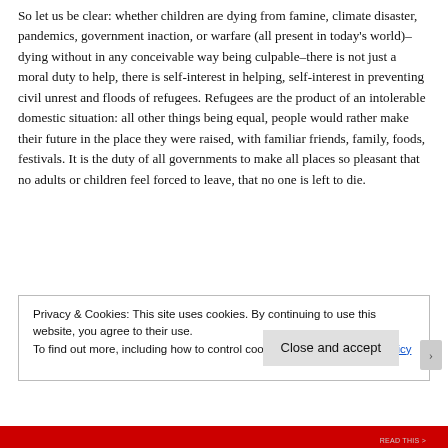So let us be clear: whether children are dying from famine, climate disaster, pandemics, government inaction, or warfare (all present in today's world)–dying without in any conceivable way being culpable–there is not just a moral duty to help, there is self-interest in helping, self-interest in preventing civil unrest and floods of refugees. Refugees are the product of an intolerable domestic situation: all other things being equal, people would rather make their future in the place they were raised, with familiar friends, family, foods, festivals. It is the duty of all governments to make all places so pleasant that no adults or children feel forced to leave, that no one is left to die.
Privacy & Cookies: This site uses cookies. By continuing to use this website, you agree to their use.
To find out more, including how to control cookies, see here: Cookie Policy
Close and accept